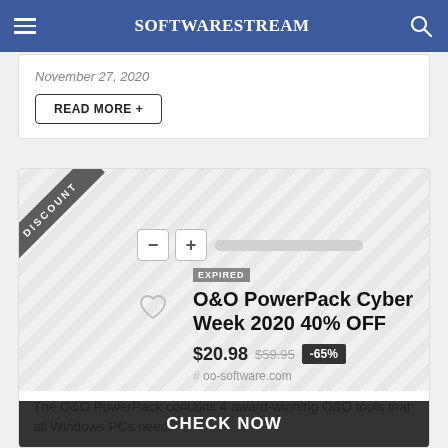SOFTWARESTREAM
November 27, 2020
READ MORE +
EXPIRED O&O PowerPack Cyber Week 2020 40% OFF
$20.98 $59.95 -65%
# oo-software.com
The O&O PowerPack contains 4 award-winning O&O tools that all Windows PCs need.
November 15, 2020
CHECK NOW